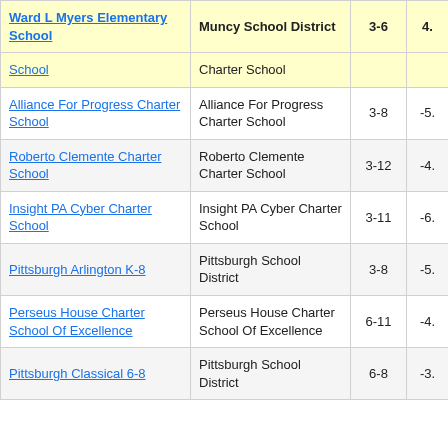| School | District | Grades | Value |
| --- | --- | --- | --- |
| Ward L Myers Elementary School | Muncy School District | 3-6 | 4. |
| School | Charter School |  |  |
| Alliance For Progress Charter School | Alliance For Progress Charter School | 3-8 | -5. |
| Roberto Clemente Charter School | Roberto Clemente Charter School | 3-12 | -4. |
| Insight PA Cyber Charter School | Insight PA Cyber Charter School | 3-11 | -6. |
| Pittsburgh Arlington K-8 | Pittsburgh School District | 3-8 | -5. |
| Perseus House Charter School Of Excellence | Perseus House Charter School Of Excellence | 6-11 | -4. |
| Pittsburgh Classical 6-8 | Pittsburgh School District | 6-8 | -3. |